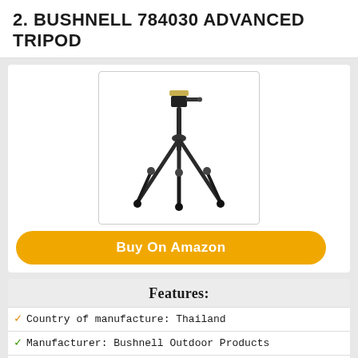2. BUSHNELL 784030 ADVANCED TRIPOD
[Figure (photo): Product photo of Bushnell 784030 Advanced Tripod, a black full-size camera tripod with three legs and a 3-way pan/tilt head, shown fully extended against a white background.]
Buy On Amazon
Features:
Country of manufacture: Thailand
Manufacturer: Bushnell Outdoor Products
Full-size tripod for spotting scopes, binoculars,
Durable aluminum legs are individually adjustable to
3-way pan/tilt head with large mounting platform;